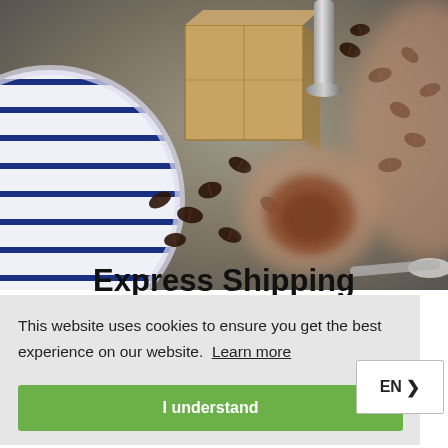[Figure (photo): Overhead photo of coffee beans scattered on a gray surface, with a cardboard box, a metal tamper tool, a striped bowl, a blurred espresso cup, and a blurred hand in the foreground.]
Express Shipping
This website uses cookies to ensure you get the best experience on our website. Learn more
I understand
EN >